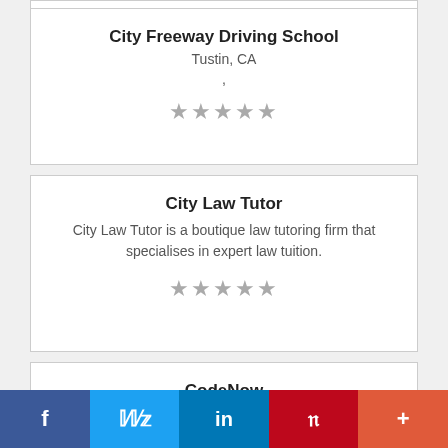City Freeway Driving School
Tustin, CA
,
[Figure (other): 5 grey star rating icons]
City Law Tutor
City Law Tutor is a boutique law tutoring firm that specialises in expert law tuition.
[Figure (other): 5 grey star rating icons]
CodeNow
East New York, NY
Education
[Figure (other): 5 grey star rating icons (partial, cut off)]
f  [Twitter bird]  in  P  +